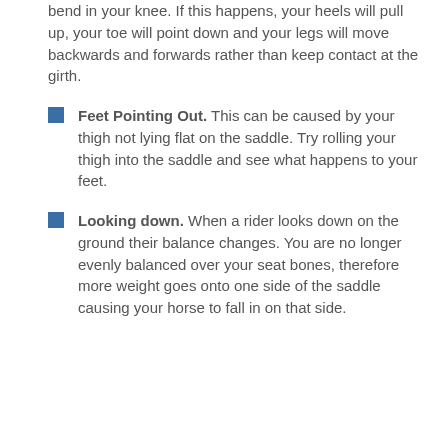bend in your knee. If this happens, your heels will pull up, your toe will point down and your legs will move backwards and forwards rather than keep contact at the girth.
Feet Pointing Out. This can be caused by your thigh not lying flat on the saddle. Try rolling your thigh into the saddle and see what happens to your feet.
Looking down. When a rider looks down on the ground their balance changes. You are no longer evenly balanced over your seat bones, therefore more weight goes onto one side of the saddle causing your horse to fall in on that side.